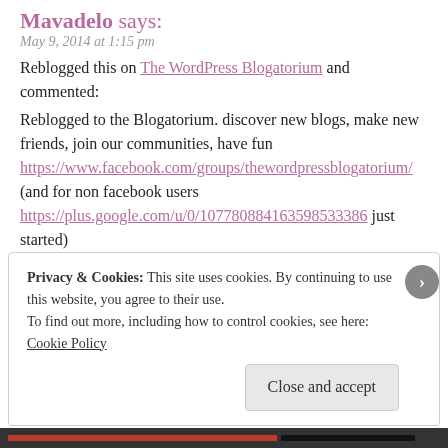Mavadelo says:
May 9, 2014 at 1:15 pm
Reblogged this on The WordPress Blogatorium and commented:
Reblogged to the Blogatorium. discover new blogs, make new friends, join our communities, have fun https://www.facebook.com/groups/thewordpressblogatorium/ (and for non facebook users https://plus.google.com/u/0/107780884163598533386 just started)
REPLY
Privacy & Cookies: This site uses cookies. By continuing to use this website, you agree to their use.
To find out more, including how to control cookies, see here:
Cookie Policy
Close and accept